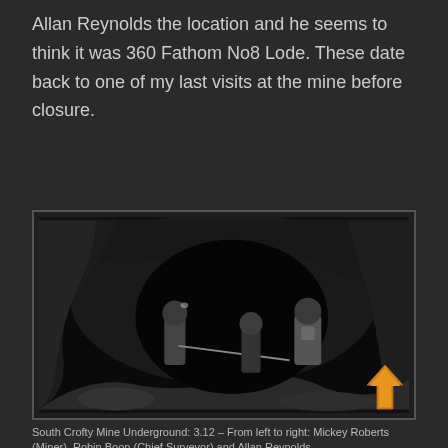Allan Reynolds the location and he seems to think it was 360 Fathom No8 Lode. These date back to one of my last visits at the mine before closure.
[Figure (photo): Black and white photograph of South Crofty Mine Underground showing three people working in a mine tunnel. Caption identifies from left to right: Mickey Roberts (Miner), Robin Boon (Chief Surveyor) and Allan Reynolds.]
South Crofty Mine Underground: 3.12 – From left to right: Mickey Roberts (Miner), Robin Boon (Chief Surveyor) and Allan Reynolds